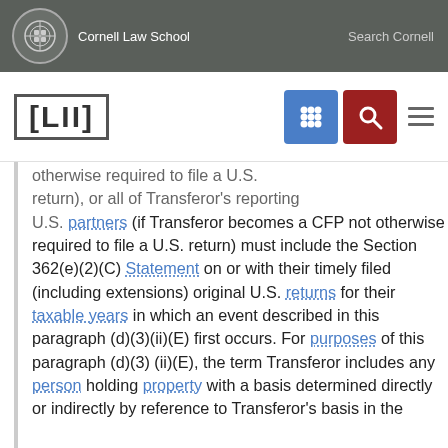Cornell Law School | Search Cornell
[Figure (logo): LII Legal Information Institute navigation bar with Cornell Law School branding]
otherwise required to file a U.S. return), or all of Transferor's reporting U.S. partners (if Transferor becomes a CFP not otherwise required to file a U.S. return) must include the Section 362(e)(2)(C) Statement on or with their timely filed (including extensions) original U.S. returns for their taxable years in which an event described in this paragraph (d)(3)(ii)(E) first occurs. For purposes of this paragraph (d)(3)(ii)(E), the term Transferor includes any person holding property with a basis determined directly or indirectly by reference to Transferor's basis in the